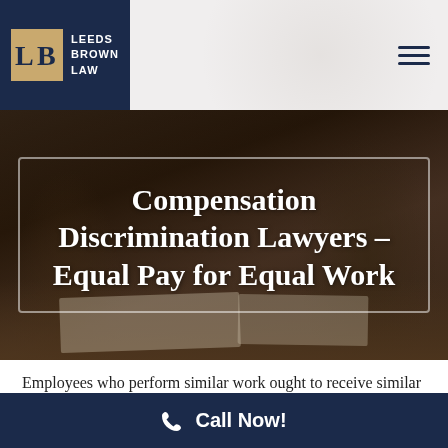[Figure (logo): Leeds Brown Law logo with LB monogram in dark navy square and text 'LEEDS BROWN LAW']
Compensation Discrimination Lawyers – Equal Pay for Equal Work
Employees who perform similar work ought to receive similar pay. Workers in New York are protected by several
Call Now!